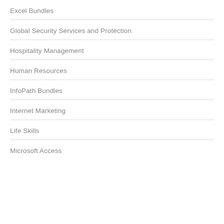Excel Bundles
Global Security Services and Protection
Hospitality Management
Human Resources
InfoPath Bundles
Internet Marketing
Life Skills
Microsoft Access